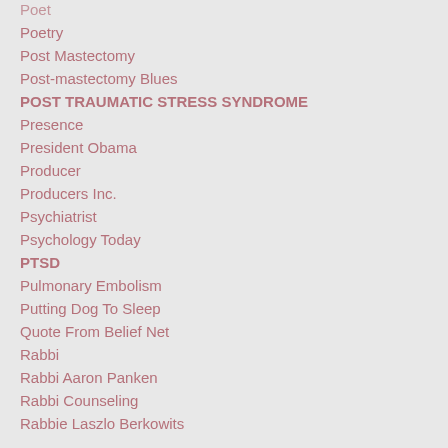Poet
Poetry
Post Mastectomy
Post-mastectomy Blues
POST TRAUMATIC STRESS SYNDROME
Presence
President Obama
Producer
Producers Inc.
Psychiatrist
Psychology Today
PTSD
Pulmonary Embolism
Putting Dog To Sleep
Quote From Belief Net
Rabbi
Rabbi Aaron Panken
Rabbi Counseling
Rabbie Laszlo Berkowits